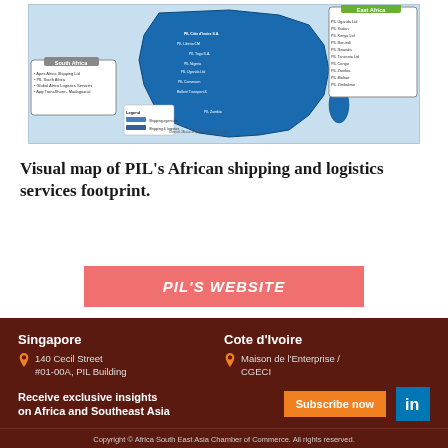[Figure (map): Visual map of PIL's African shipping and logistics services footprint showing shipping agencies and logistics locations across Africa with South Africa and East Africa callout boxes]
Visual map of PIL's African shipping and logistics services footprint.
PIL'S WEBSITE
Singapore
140 Cecil Street
#01-00A, PIL Building
Singapore 069540
contact@africaseasia.org
Cote d'Ivoire
Maison de l'Enterprise / CGECI
Angle du Bd. de la Republique, Avenue Lamblin
Abidjan, Côte d'Ivoire
Receive exclusive insights on Africa and Southeast Asia
Subscribe now
Copyright © Africa South East Asia Chamber of Commerce. All rights reserved.